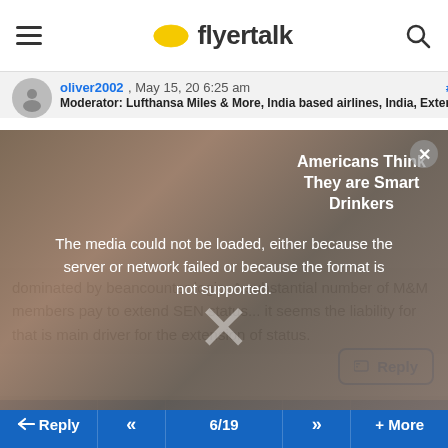flyertalk
#82
oliver2002 , May 15, 20 6:25 am
Moderator: Lufthansa Miles & More, India based airlines, India, External
[Figure (screenshot): Video media error overlay with text: The media could not be loaded, either because the server or network failed or because the format is not supported. Background shows a partially visible person. Top right shows ad text: Americans Think They are Smart Drinkers]
dominated by beancounter logic. A substantial number of M&M members pay to extend SEN status... it seems the liability for that is main driver for the extension of status.
#83
FLYGVA , May 15, 20 6:25 am
Reply  <<  6/19  >>  + More